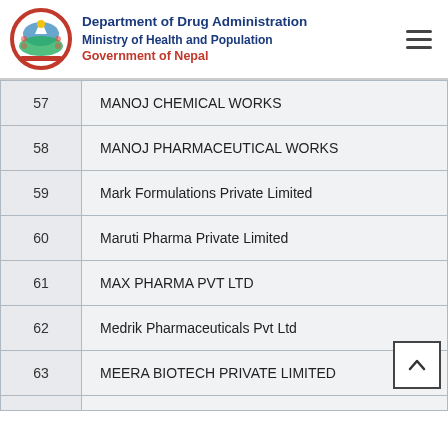Department of Drug Administration | Ministry of Health and Population | Government of Nepal
| No. | Name |
| --- | --- |
| 57 | MANOJ CHEMICAL WORKS |
| 58 | MANOJ PHARMACEUTICAL WORKS |
| 59 | Mark Formulations Private Limited |
| 60 | Maruti Pharma Private Limited |
| 61 | MAX PHARMA PVT LTD |
| 62 | Medrik Pharmaceuticals Pvt Ltd |
| 63 | MEERA BIOTECH PRIVATE LIMITED |